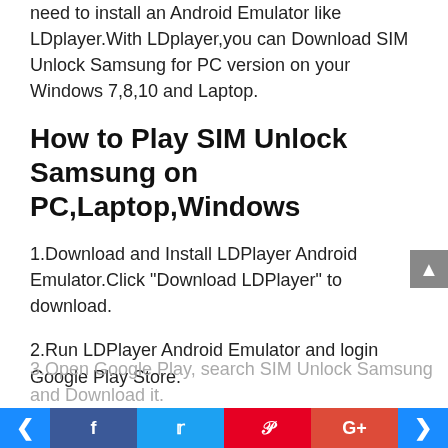need to install an Android Emulator like LDplayer.With LDplayer,you can Download SIM Unlock Samsung for PC version on your Windows 7,8,10 and Laptop.
How to Play SIM Unlock Samsung on PC,Laptop,Windows
1.Download and Install LDPlayer Android Emulator.Click "Download LDPlayer" to download.
2.Run LDPlayer Android Emulator and login Google Play Store.
3.Open Google Play, search SIM Unlock Samsung and Download it.